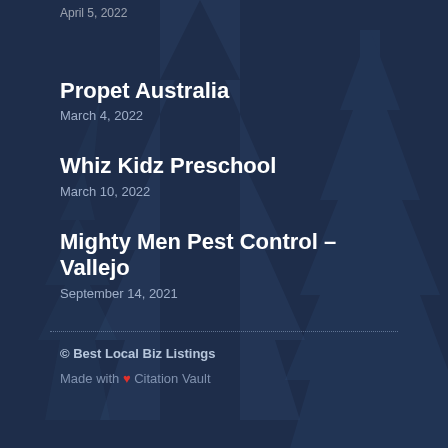April 5, 2022
Propet Australia
March 4, 2022
Whiz Kidz Preschool
March 10, 2022
Mighty Men Pest Control – Vallejo
September 14, 2021
© Best Local Biz Listings
Made with ❤ Citation Vault